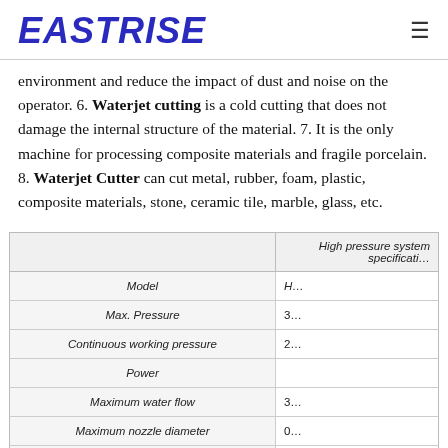EASTRISE
environment and reduce the impact of dust and noise on the operator. 6. Waterjet cutting is a cold cutting that does not damage the internal structure of the material. 7. It is the only machine for processing composite materials and fragile porcelain. 8. Waterjet Cutter can cut metal, rubber, foam, plastic, composite materials, stone, ceramic tile, marble, glass, etc.
|  | High pressure system specificati… | H… |
| --- | --- | --- |
| Model | H… |
| Max. Pressure | 3… |
| Continuous working pressure | 2… |
| Power |  |
| Maximum water flow | 3… |
| Maximum nozzle diameter | 0… |
| Working power supply |  |